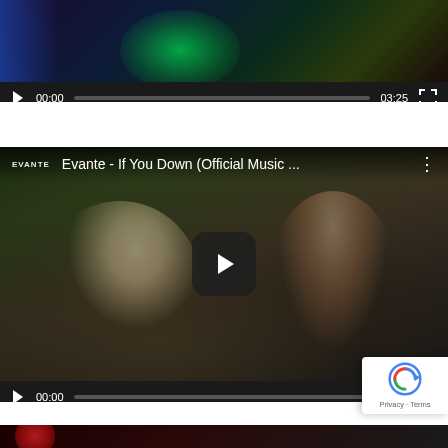[Figure (screenshot): Video player 1 (partially visible) showing a dark music video with green and blue lighting effects. Controls show 00:00 / 03:25 with play button and fullscreen icon.]
[Figure (screenshot): YouTube video player for 'Evante - If You Down (Official Music ...' showing two people seated. Controls show 00:00 / 02:33 with play button and fullscreen icon. EVANTE logo shown top-left.]
[Figure (screenshot): Third video player (partially visible at bottom) with dark red/black thumbnail.]
[Figure (screenshot): Google reCAPTCHA badge in bottom-right corner showing reCAPTCHA logo and Privacy - Terms links.]